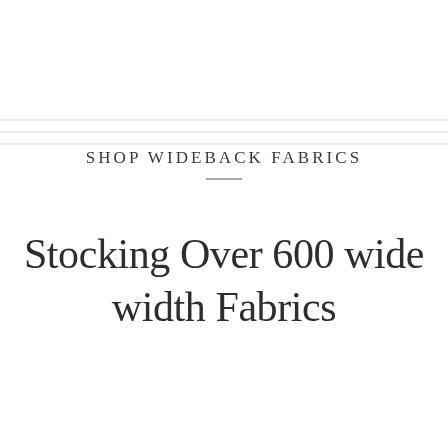SHOP WIDEBACK FABRICS
Stocking Over 600 wide width Fabrics